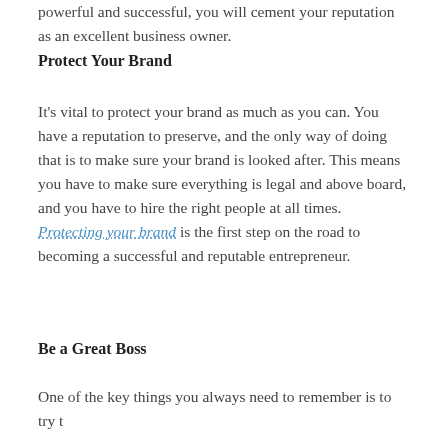powerful and successful, you will cement your reputation as an excellent business owner.
Protect Your Brand
It’s vital to protect your brand as much as you can. You have a reputation to preserve, and the only way of doing that is to make sure your brand is looked after. This means you have to make sure everything is legal and above board, and you have to hire the right people at all times. Protecting your brand is the first step on the road to becoming a successful and reputable entrepreneur.
Be a Great Boss
One of the key things you always need to remember is to try t